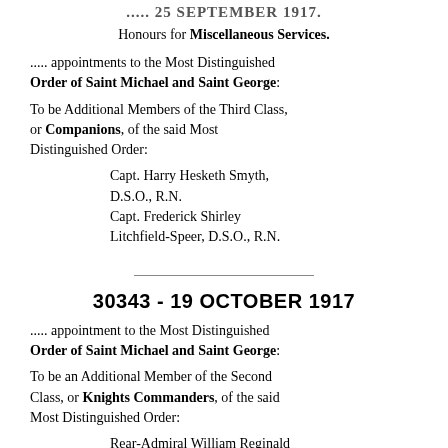..... 25 SEPTEMBER 1917
Honours for Miscellaneous Services.
..... appointments to the Most Distinguished Order of Saint Michael and Saint George:
To be Additional Members of the Third Class, or Companions, of the said Most Distinguished Order:
Capt. Harry Hesketh Smyth, D.S.O., R.N.
Capt. Frederick Shirley Litchfield-Speer, D.S.O., R.N.
30343 - 19 OCTOBER 1917
..... appointment to the Most Distinguished Order of Saint Michael and Saint George:
To be an Additional Member of the Second Class, or Knights Commanders, of the said Most Distinguished Order:
Rear-Admiral William Reginald